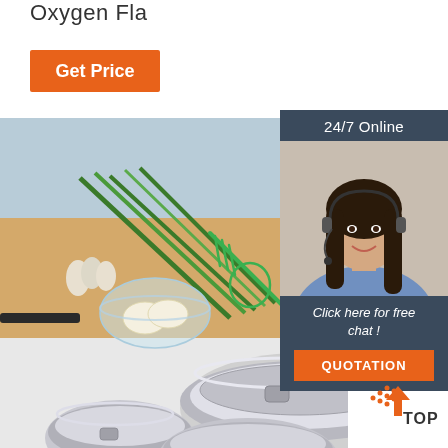Oxygen Fla
Get Price
[Figure (photo): Stainless steel mixing bowls with kitchen ingredients including green onions, eggs in a glass bowl, and a green whisk on a wooden cutting board]
24/7 Online
[Figure (photo): Female customer service agent smiling and wearing a headset]
Click here for free chat !
QUOTATION
[Figure (logo): TOP badge/logo with orange dots and arrow]